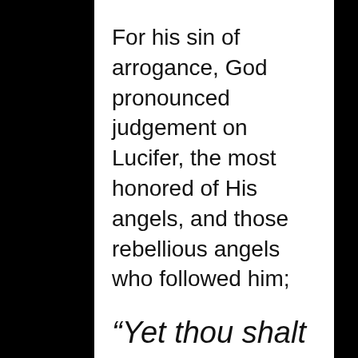For his sin of arrogance, God pronounced judgement on Lucifer, the most honored of His angels, and those rebellious angels who followed him;
“Yet thou shalt be brought